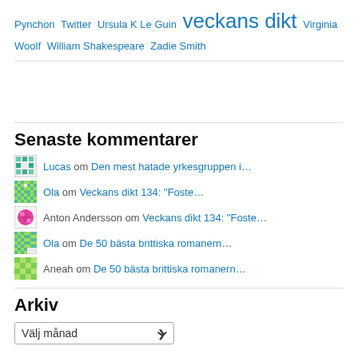Pynchon Twitter Ursula K Le Guin veckans dikt Virginia Woolf William Shakespeare Zadie Smith
Senaste kommentarer
Lucas om Den mest hatade yrkesgruppen i…
Ola om Veckans dikt 134: "Foste…"
Anton Andersson om Veckans dikt 134: "Foste…"
Ola om De 50 bästa brittiska romanern…
Aneah om De 50 bästa brittiska romanern…
Arkiv
Välj månad